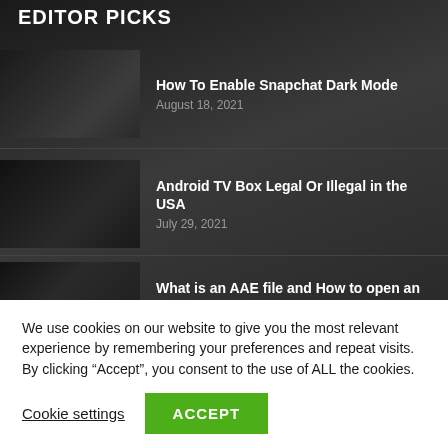EDITOR PICKS
How To Enable Snapchat Dark Mode
August 18, 2021
Android TV Box Legal Or Illegal in the USA
July 29, 2021
What is an AAE file and How to open an AAE...
July 29, 2021
We use cookies on our website to give you the most relevant experience by remembering your preferences and repeat visits. By clicking “Accept”, you consent to the use of ALL the cookies.
Cookie settings
ACCEPT